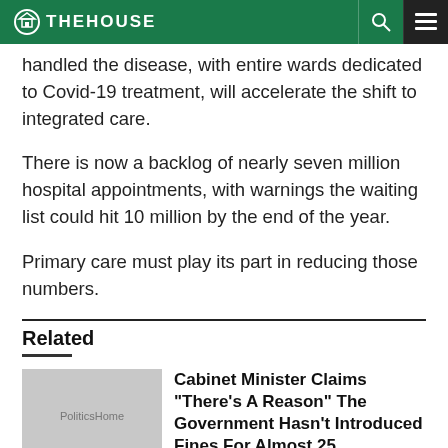THE HOUSE
handled the disease, with entire wards dedicated to Covid-19 treatment, will accelerate the shift to integrated care.
There is now a backlog of nearly seven million hospital appointments, with warnings the waiting list could hit 10 million by the end of the year.
Primary care must play its part in reducing those numbers.
Related
Cabinet Minister Claims “There’s A Reason” The Government Hasn’t Introduced Fines For Almost 25...